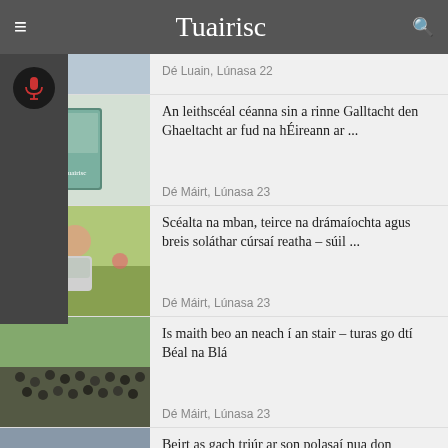Tuairisc
Dé Luain, Lúnasa 22
An leithscéal céanna sin a rinne Galltacht den Ghaeltacht ar fud na hÉireann ar ...
Dé Máirt, Lúnasa 23
Scéalta na mban, teirce na drámaíochta agus breis soláthar cúrsaí reatha – súil ...
Dé Máirt, Lúnasa 23
Is maith beo an neach í an stair – turas go dtí Béal na Blá
Dé Máirt, Lúnasa 23
Beirt as gach triúr ar son polasaí nua don Ghaeilge sa chóras oideachais
Dé Máirt, Lúnasa 23